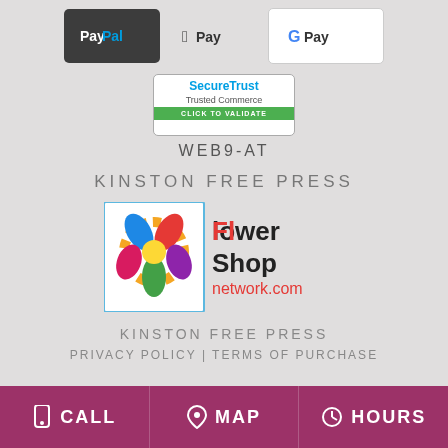[Figure (logo): Payment logos: PayPal (dark rounded rectangle), Apple Pay (with Apple logo), Google Pay (G Pay in white rounded rectangle with border)]
[Figure (logo): SecureTrust Trusted Commerce badge with green CLICK TO VALIDATE bar at bottom]
WEB9-AT
KINSTON FREE PRESS
[Figure (logo): Flower Shop Network .com logo with colorful flower graphic on the left and text on the right]
KINSTON FREE PRESS
PRIVACY POLICY | TERMS OF PURCHASE
CALL   MAP   HOURS